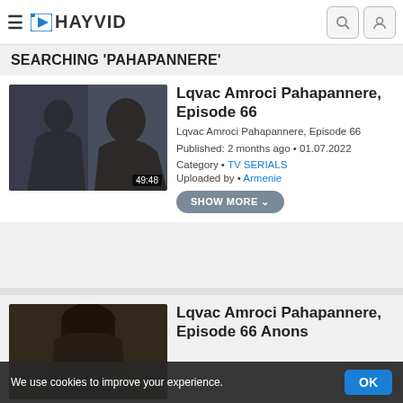HAYVID
SEARCHING 'PAHAPANNERE'
[Figure (screenshot): Video thumbnail showing a young man in dark clothing against a dark blue background, duration 49:48]
Lqvac Amroci Pahapannere, Episode 66
Lqvac Amroci Pahapannere, Episode 66
Published: 2 months ago • 01.07.2022
Category • TV SERIALS
Uploaded by • Armenie
SHOW MORE
[Figure (screenshot): Partial video thumbnail showing a figure with dark hair against a dark warm-toned background]
Lqvac Amroci Pahapannere, Episode 66 Anons
We use cookies to improve your experience.